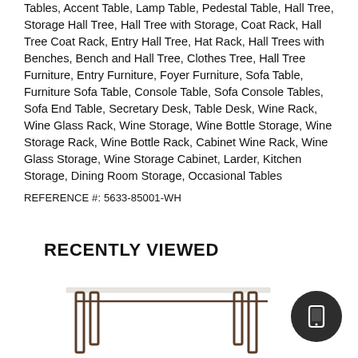Tables, Accent Table, Lamp Table, Pedestal Table, Hall Tree, Storage Hall Tree, Hall Tree with Storage, Coat Rack, Hall Tree Coat Rack, Entry Hall Tree, Hat Rack, Hall Trees with Benches, Bench and Hall Tree, Clothes Tree, Hall Tree Furniture, Entry Furniture, Foyer Furniture, Sofa Table, Furniture Sofa Table, Console Table, Sofa Console Tables, Sofa End Table, Secretary Desk, Table Desk, Wine Rack, Wine Glass Rack, Wine Storage, Wine Bottle Storage, Wine Storage Rack, Wine Bottle Rack, Cabinet Wine Rack, Wine Glass Storage, Wine Storage Cabinet, Larder, Kitchen Storage, Dining Room Storage, Occasional Tables
REFERENCE #: 5633-85001-WH
RECENTLY VIEWED
[Figure (photo): Partial view of a furniture item (console table or hall tree) with a light-colored top surface and dark metal frame legs, shown from below the frame.]